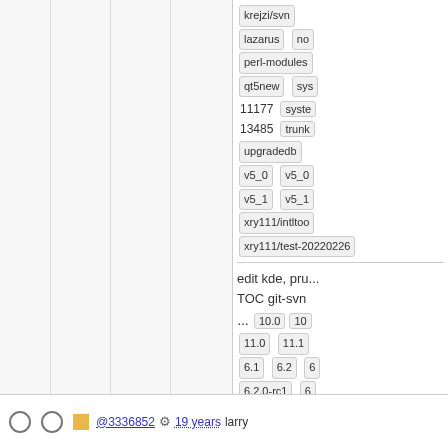[Figure (screenshot): Partial view of a repository/commit listing table. Left side shows empty grid columns with borders. Right side shows a tag/branch list panel with items: krejzi/svn, lazarus, no, perl-modules, qt5new, sys, 11177, syste, 13485, trunk, upgradedb, v5_0, v5_0, v5_1, v5_1, xry111/intltoo, xry111/test-20220226. Below a divider: 'edit kde, pru... TOC git-svn ...' followed by version tags: 10.0, 10, 11.0, 11.1, 6.1, 6.2, 6.2.0-rc1, 6, rc2, 6.3, 6.3, 6.3-rc2, 6.3, 7.10, 7.4, 7.6, 7.6-blfs, 7.6-systemd, 7.8, 7.9, 8, 8.1, 8.2, 8, 8.4, 9.0, 9, basic, bdubbs/svn, elogind, gn, kde5_13430. Bottom row shows: two radio buttons, orange square, @3336852 with gear icon, 19 years (underlined dotted), larry.]